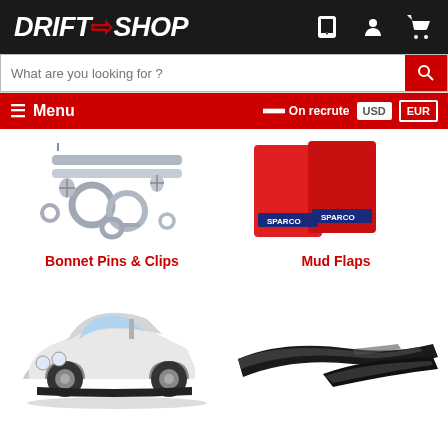[Figure (logo): DriftShop logo in white italic bold text on black background with red lightning bolt/arrow between DRIFT and SHOP]
[Figure (infographic): Phone icon, person/user icon, and shopping cart icon in white on black header]
[Figure (screenshot): Search bar with placeholder text 'What are you looking for ?' and red search button]
[Figure (screenshot): Red navigation bar with hamburger Menu, flag with 'On recrute', USD and EUR currency buttons]
[Figure (photo): Bonnet pins and clips hardware: screws, long pins, and circular clips in chrome/silver]
[Figure (photo): Red mud flaps with Sparco branding logos]
Bonnet Pins & Clips
Mud Flaps
[Figure (photo): White lowered BMW E30 car with front lip spoiler below]
[Figure (photo): Black glossy side splitters/canards car parts]